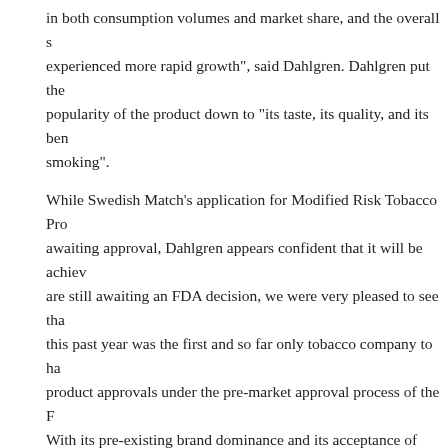in both consumption volumes and market share, and the overall s... experienced more rapid growth", said Dahlgren. Dahlgren put the popularity of the product down to "its taste, its quality, and its ben... smoking".
While Swedish Match’s application for Modified Risk Tobacco Pro... awaiting approval, Dahlgren appears confident that it will be achiev... are still awaiting an FDA decision, we were very pleased to see tha... this past year was the first and so far only tobacco company to ha... product approvals under the pre-market approval process of the F... With its pre-existing brand dominance and its acceptance of chang... conditions, Swedish Match is well positioned to grow its snus sales... market. It has recognised which tobacco products are on the decli... focused its energies accordingly, as well as working with regulator... ensure lighter regulation of its products.
‘BAN SMOKING AT OUTDOOR RESTAURANTS IN SWEDE...
Jun 7th, 2016 by Editor. No comments yet
http://www.thelocal.se/20160607/ban-smoking-at-outdoor-restau...